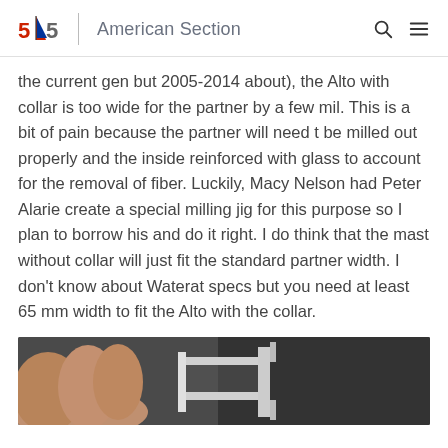5O5 | American Section
the current gen but 2005-2014 about), the Alto with collar is too wide for the partner by a few mil. This is a bit of pain because the partner will need t be milled out properly and the inside reinforced with glass to account for the removal of fiber. Luckily, Macy Nelson had Peter Alarie create a special milling jig for this purpose so I plan to borrow his and do it right. I do think that the mast without collar will just fit the standard partner width. I don't know about Waterat specs but you need at least 65 mm width to fit the Alto with the collar.
[Figure (photo): Close-up photo of a hand holding what appears to be a measuring caliper or milling tool, with a dark background.]